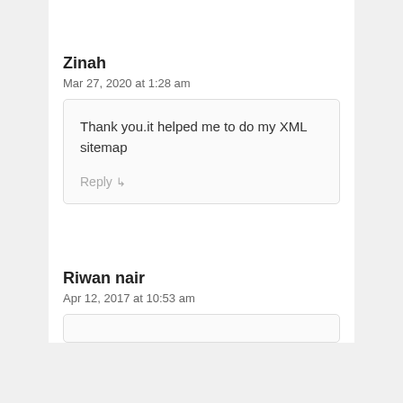Zinah
Mar 27, 2020 at 1:28 am
Thank you.it helped me to do my XML sitemap
Reply ↳
Riwan nair
Apr 12, 2017 at 10:53 am